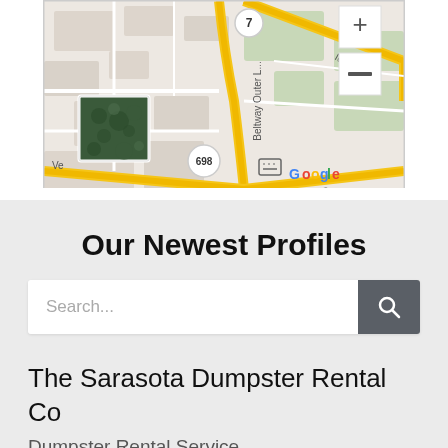[Figure (map): Google Maps partial view showing roads including Beltway Outer Loop, route 7, route 698, and Google branding with Map data ©2022 Google and Terms of Use. Map controls show + and - zoom buttons.]
Our Newest Profiles
[Figure (screenshot): Search bar with placeholder text 'Search...' and a dark grey search button with magnifying glass icon]
The Sarasota Dumpster Rental Co
Dumpster Rental Service